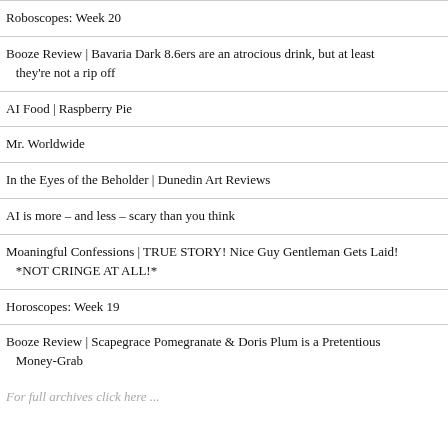Roboscopes: Week 20
Booze Review | Bavaria Dark 8.6ers are an atrocious drink, but at least they're not a rip off
AI Food | Raspberry Pie
Mr. Worldwide
In the Eyes of the Beholder | Dunedin Art Reviews
AI is more – and less – scary than you think
Moaningful Confessions | TRUE STORY! Nice Guy Gentleman Gets Laid! *NOT CRINGE AT ALL!*
Horoscopes: Week 19
Booze Review | Scapegrace Pomegranate & Doris Plum is a Pretentious Money-Grab
For full archives click here ...